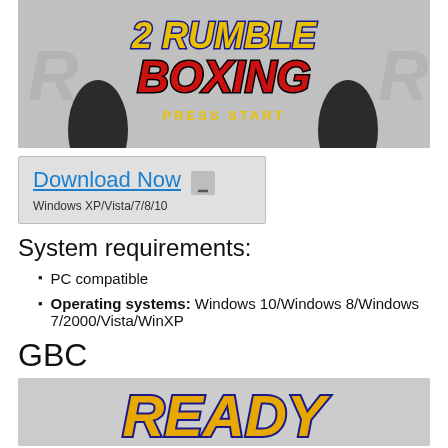[Figure (screenshot): Game title screen for Rumble Boxing 2 showing stylized text logo with silhouetted boxers and 'PRESS START' text on grey background]
[Figure (screenshot): Download Now button with arrow icon, grey background, text reads Windows XP/Vista/7/8/10]
System requirements:
PC compatible
Operating systems: Windows 10/Windows 8/Windows 7/2000/Vista/WinXP
GBC
[Figure (screenshot): Game title screen showing 'READY' text in stylized yellow/orange logo with dark outline on grey background]